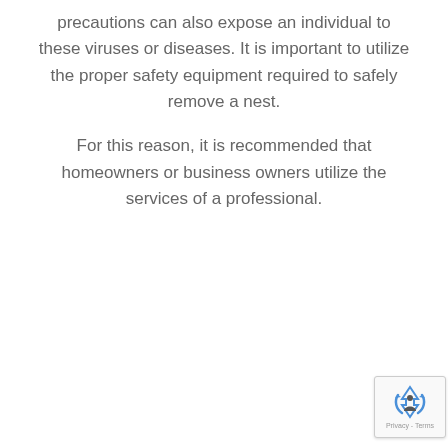precautions can also expose an individual to these viruses or diseases. It is important to utilize the proper safety equipment required to safely remove a nest.
For this reason, it is recommended that homeowners or business owners utilize the services of a professional.
[Figure (other): reCAPTCHA badge with recycling/accessibility icon and Privacy - Terms text]